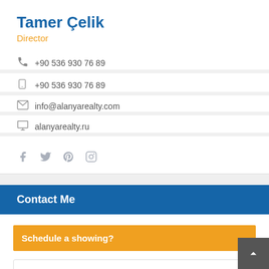Tamer Çelik
Director
+90 536 930 76 89
+90 536 930 76 89
info@alanyarealty.com
alanyarealty.ru
Contact Me
Schedule a showing?
Your Name
Your Email